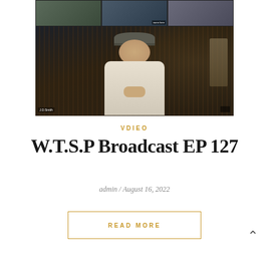[Figure (screenshot): Video conference screenshot showing a man in a flat cap sitting in front of bookshelves, with smaller video thumbnails of other participants in the top strip.]
VDIEO
W.T.S.P Broadcast EP 127
admin / August 16, 2022
READ MORE